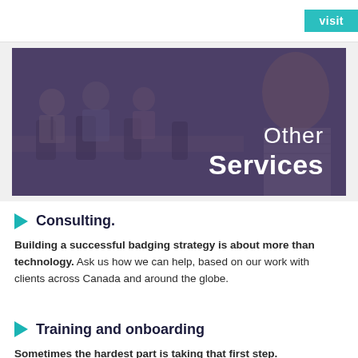visit
[Figure (photo): Group of people in a meeting/training session with a purple overlay, showing text 'Other Services' in the lower right]
Consulting.
Building a successful badging strategy is about more than technology. Ask us how we can help, based on our work with clients across Canada and around the globe.
Training and onboarding
Sometimes the hardest part is taking that first step.